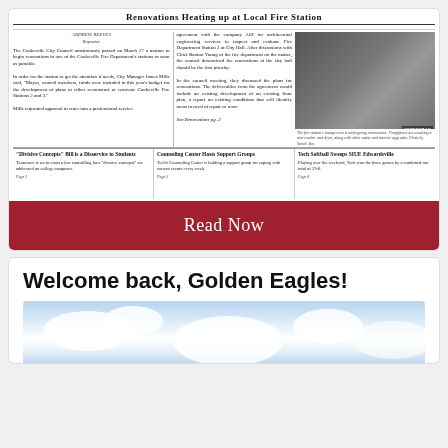[Figure (screenshot): Newspaper front page screenshot showing headline 'Renovations Heating up at Local Fire Station' by Andrew Reeves, Reporter. Three column layout with text and a photo of firefighters. Below are three sub-headlines: 'Divisive Concepts Bill is a Disservice to Students', 'Counseling Center Hosts Support Groups', 'Tech Softball Sweeps SIUE Edwardsville']
Read Now
Welcome back, Golden Eagles!
[Figure (photo): Photo of sky with white clouds against blue sky background]